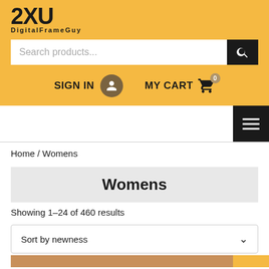[Figure (logo): 2XU logo with DigitalFrameGuy subtitle on yellow/amber background]
Search products...
SIGN IN
MY CART 0
[Figure (other): Hamburger menu icon (three horizontal lines) on black background]
Home / Womens
Womens
Showing 1–24 of 460 results
Sort by newness